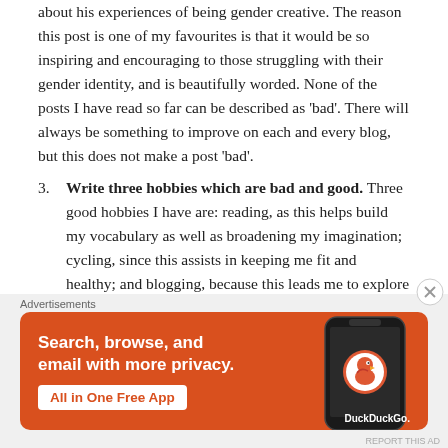about his experiences of being gender creative. The reason this post is one of my favourites is that it would be so inspiring and encouraging to those struggling with their gender identity, and is beautifully worded. None of the posts I have read so far can be described as 'bad'. There will always be something to improve on each and every blog, but this does not make a post 'bad'.
3. Write three hobbies which are bad and good. Three good hobbies I have are: reading, as this helps build my vocabulary as well as broadening my imagination; cycling, since this assists in keeping me fit and healthy; and blogging, because this leads me to explore varying opinions and lets me put my thoughts
[Figure (other): DuckDuckGo advertisement banner with orange background. Text reads: 'Search, browse, and email with more privacy. All in One Free App' with DuckDuckGo logo and phone image.]